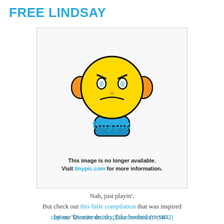FREE LINDSAY
[Figure (illustration): TinyPic placeholder image showing a yellow sad-face emoji with orange headphones and blue hands, with the TinyPic logo below and the text: This image is no longer available. Visit tinypic.com for more information.]
Nah, just playin'. But check out this little compilation that was inspired by our favorite drunky, fake boobed convict.
stalker, "Disconnection (Disconnected)" (MP3)